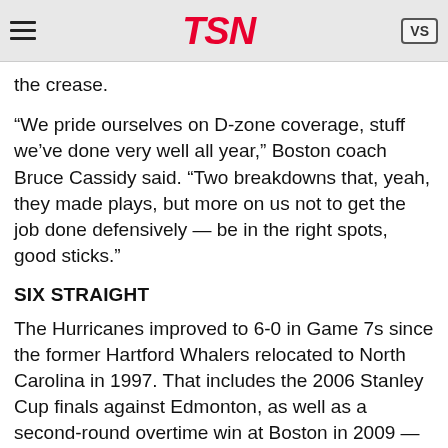TSN
the crease.
“We pride ourselves on D-zone coverage, stuff we’ve done very well all year,” Boston coach Bruce Cassidy said. “Two breakdowns that, yeah, they made plays, but more on us not to get the job done defensively — be in the right spots, good sticks.”
SIX STRAIGHT
The Hurricanes improved to 6-0 in Game 7s since the former Hartford Whalers relocated to North Carolina in 1997. That includes the 2006 Stanley Cup finals against Edmonton, as well as a second-round overtime win at Boston in 2009 — which came 13 years earlier to the day.
EARLY EXIT
The Bruins were in their sixth straight playoffs. But this